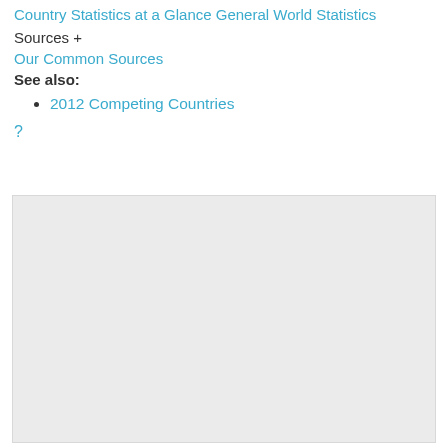Country Statistics at a Glance General World Statistics
Sources +
Our Common Sources
See also:
2012 Competing Countries
?
[Figure (other): Gray placeholder box, likely an embedded map or chart area]